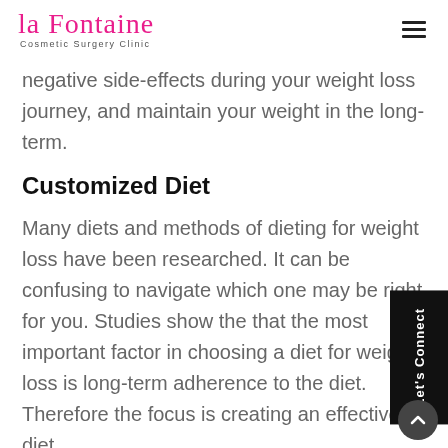La Fontaine Cosmetic Surgery Clinic
negative side-effects during your weight loss journey, and maintain your weight in the long-term.
Customized Diet
Many diets and methods of dieting for weight loss have been researched. It can be confusing to navigate which one may be right for you. Studies show the that the most important factor in choosing a diet for weight loss is long-term adherence to the diet. Therefore the focus is creating an effective diet